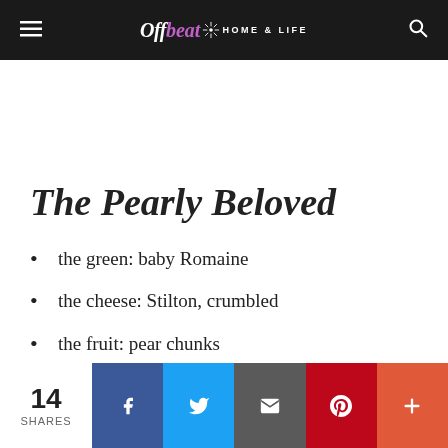Offbeat HOME & LIFE
The Pearly Beloved
the green: baby Romaine
the cheese: Stilton, crumbled
the fruit: pear chunks
the nut: walnuts
the dressing: white wine vinaigrette
14 SHARES  [Facebook] [Twitter] [Email] [Pinterest] [More]